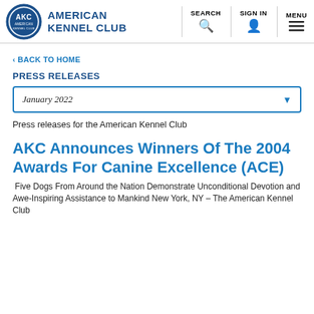American Kennel Club — SEARCH | SIGN IN | MENU
< BACK TO HOME
PRESS RELEASES
January 2022
Press releases for the American Kennel Club
AKC Announces Winners Of The 2004 Awards For Canine Excellence (ACE)
Five Dogs From Around the Nation Demonstrate Unconditional Devotion and Awe-Inspiring Assistance to Mankind New York, NY – The American Kennel Club